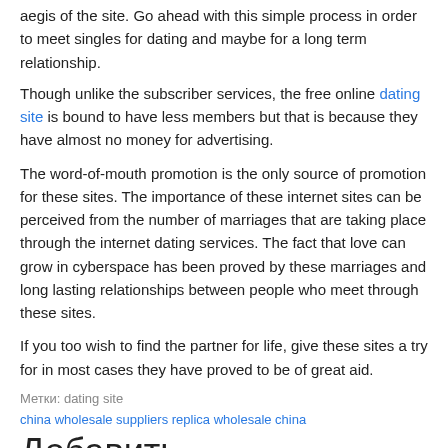aegis of the site. Go ahead with this simple process in order to meet singles for dating and maybe for a long term relationship.
Though unlike the subscriber services, the free online dating site is bound to have less members but that is because they have almost no money for advertising.
The word-of-mouth promotion is the only source of promotion for these sites. The importance of these internet sites can be perceived from the number of marriages that are taking place through the internet dating services. The fact that love can grow in cyberspace has been proved by these marriages and long lasting relationships between people who meet through these sites.
If you too wish to find the partner for life, give these sites a try for in most cases they have proved to be of great aid.
Метки: dating site
china wholesale suppliers replica wholesale china
Добавить
Looking For Love